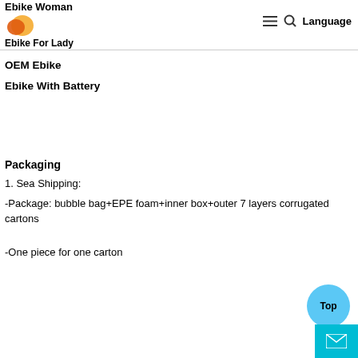Ebike Woman | Ebike For Lady
OEM Ebike
Ebike With Battery
Packaging
1. Sea Shipping:
-Package: bubble bag+EPE foam+inner box+outer 7 layers corrugated cartons
-One piece for one carton